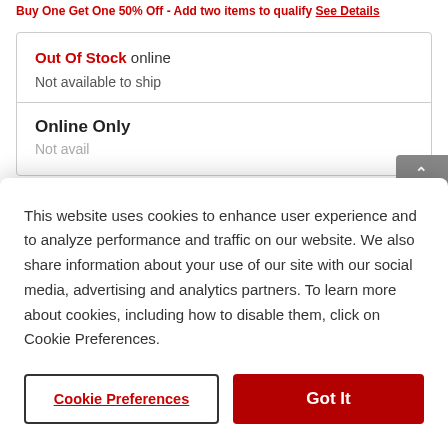Buy One Get One 50% Off - Add two items to qualify See Details
Out Of Stock online
Not available to ship
Online Only
This website uses cookies to enhance user experience and to analyze performance and traffic on our website. We also share information about your use of our site with our social media, advertising and analytics partners. To learn more about cookies, including how to disable them, click on Cookie Preferences.
Cookie Preferences
Got It